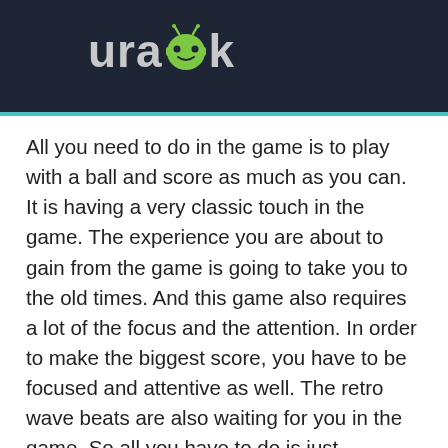urapk
All you need to do in the game is to play with a ball and score as much as you can. It is having a very classic touch in the game. The experience you are about to gain from the game is going to take you to the old times. And this game also requires a lot of the focus and the attention. In order to make the biggest score, you have to be focused and attentive as well. The retro wave beats are also waiting for you in the game. So all you have to do is just download and install the game from the link given below and start playing it.
Download PinOut MOD APK